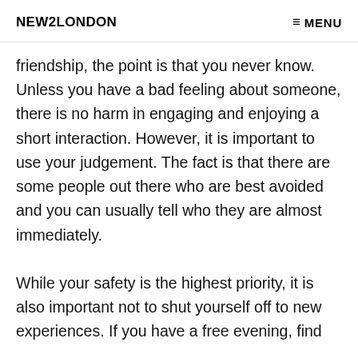NEW2LONDON   ≡ MENU
friendship, the point is that you never know. Unless you have a bad feeling about someone, there is no harm in engaging and enjoying a short interaction. However, it is important to use your judgement. The fact is that there are some people out there who are best avoided and you can usually tell who they are almost immediately. While your safety is the highest priority, it is also important not to shut yourself off to new experiences. If you have a free evening, find